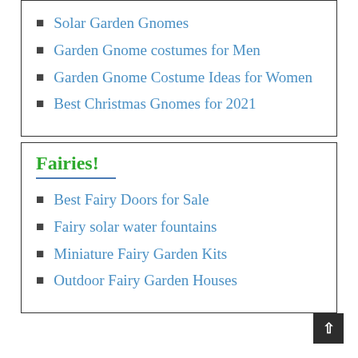Solar Garden Gnomes
Garden Gnome costumes for Men
Garden Gnome Costume Ideas for Women
Best Christmas Gnomes for 2021
Fairies!
Best Fairy Doors for Sale
Fairy solar water fountains
Miniature Fairy Garden Kits
Outdoor Fairy Garden Houses